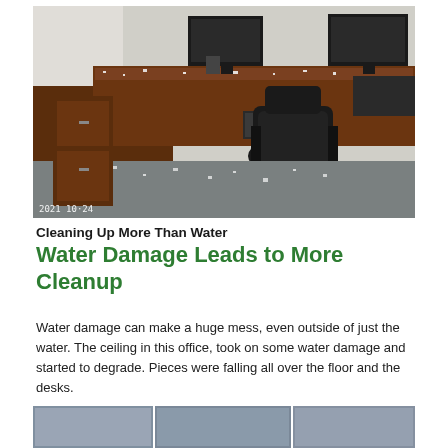[Figure (photo): Office with L-shaped dark wood desk covered in white debris from ceiling damage. Black office chair, computer monitors, keyboard visible. Gray carpet floor also covered in debris. Timestamp '2021 10 24' in bottom left corner.]
Cleaning Up More Than Water
Water Damage Leads to More Cleanup
Water damage can make a huge mess, even outside of just the water. The ceiling in this office, took on some water damage and started to degrade. Pieces were falling all over the floor and the desks.
[Figure (photo): Strip of smaller photos showing office areas with water damage cleanup.]